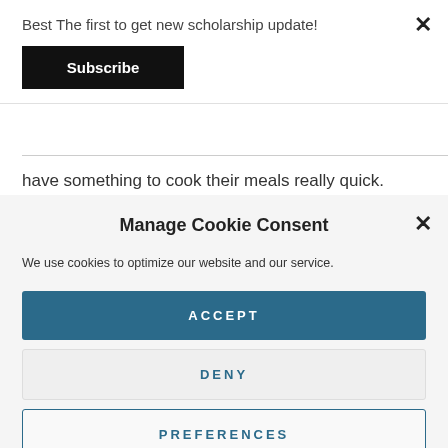Best The first to get new scholarship update!
Subscribe
have something to cook their meals really quick.
Manage Cookie Consent
We use cookies to optimize our website and our service.
ACCEPT
DENY
PREFERENCES
Privacy Policy